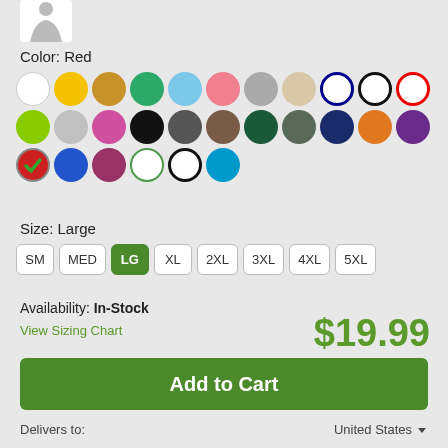[Figure (logo): Gray silhouette of a person/mannequin on white background]
Color: Red
[Figure (other): Grid of color swatches showing various colors including white, yellow, gold, green, light blue, pink, gray, beige, navy/white, black/white, red/white borders in row 1; lime green, gray, magenta, black, dark gray, brown, dark teal, olive, navy, orange, purple in row 2; red (selected with checkmark), blue, dark pink, white circle outline, navy circle outline, teal in row 3]
Size: Large
SM  MED  LG  XL  2XL  3XL  4XL  5XL
Availability: In-Stock
View Sizing Chart
$19.99
Add to Cart
Delivers to:
United States